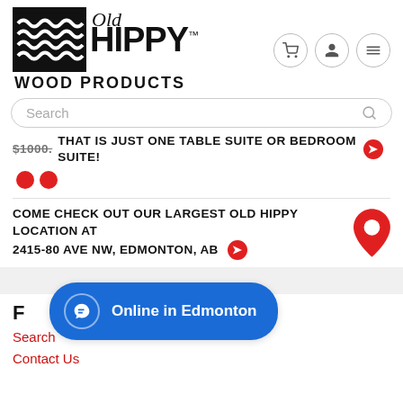[Figure (logo): Old Hippy Wood Products logo with wave pattern icon and stylized text]
Search
$1000. THAT IS JUST ONE TABLE SUITE OR BEDROOM SUITE!
COME CHECK OUT OUR LARGEST OLD HIPPY LOCATION AT 2415-80 AVE NW, EDMONTON, AB
F
Search
Contact Us
Online in Edmonton